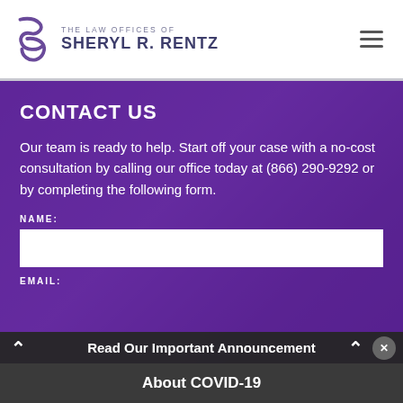THE LAW OFFICES OF SHERYL R. RENTZ
CONTACT US
Our team is ready to help. Start off your case with a no-cost consultation by calling our office today at (866) 290-9292 or by completing the following form.
NAME:
EMAIL:
Read Our Important Announcement About COVID-19